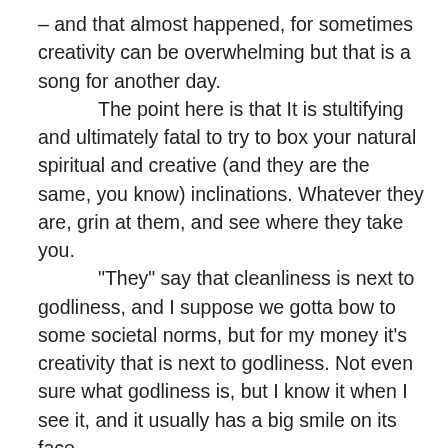– and that almost happened, for sometimes creativity can be overwhelming but that is a song for another day. The point here is that It is stultifying and ultimately fatal to try to box your natural spiritual and creative (and they are the same, you know) inclinations. Whatever they are, grin at them, and see where they take you. “They” say that cleanliness is next to godliness, and I suppose we gotta bow to some societal norms, but for my money it’s creativity that is next to godliness. Not even sure what godliness is, but I know it when I see it, and it usually has a big smile on its face.